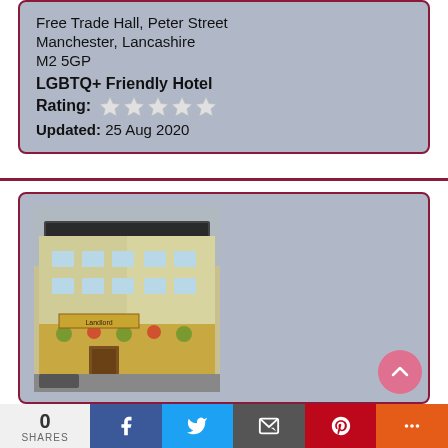Free Trade Hall, Peter Street
Manchester, Lancashire
M2 5GP
LGBTQ+ Friendly Hotel
Rating: ★★★★★
Updated: 25 Aug 2020
[Figure (photo): Exterior photo of REM Hotel building, a multi-storey cream/white building with windows and hanging flower baskets]
REM Hotel
33 Sackville Street,
Manchester, Lancashire
0 SHARES | Facebook | Twitter | Email | Pinterest | More